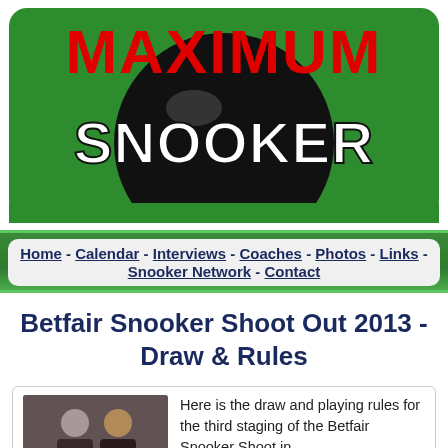[Figure (logo): Maximum Snooker logo — green rounded rectangle with black snooker ball, red text 'MAXIMUM' and white/red text 'SNOOKER']
Home - Calendar - Interviews - Coaches - Photos - Links - Snooker Network - Contact
Betfair Snooker Shoot Out 2013 - Draw & Rules
[Figure (photo): Two men posing for a photo at a snooker event]
Here is the draw and playing rules for the third staging of the Betfair Snooker Shoot in